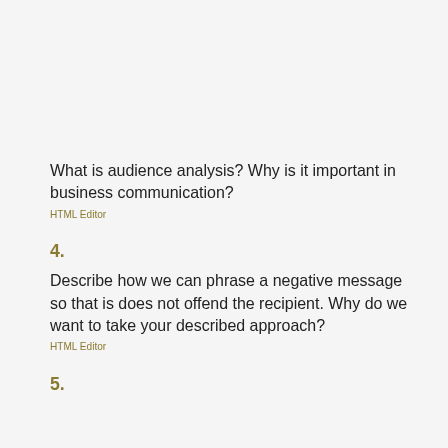What is audience analysis? Why is it important in business communication?
HTML Editor
4.
Describe how we can phrase a negative message so that is does not offend the recipient. Why do we want to take your described approach?
HTML Editor
5.